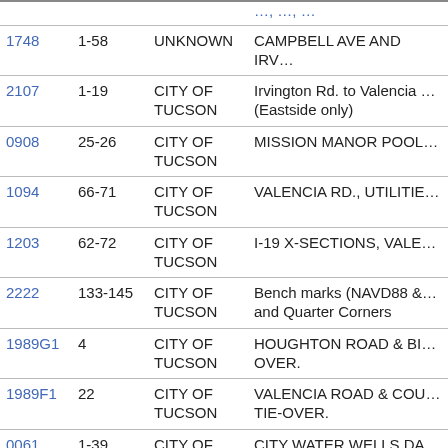| ID | Pages | Owner | Description |
| --- | --- | --- | --- |
|  |  |  | …(partial top row) |
| 1748 | 1-58 | UNKNOWN | CAMPBELL AVE AND IRV… |
| 2107 | 1-19 | CITY OF TUCSON | Irvington Rd. to Valencia … (Eastside only) |
| 0908 | 25-26 | CITY OF TUCSON | MISSION MANOR POOL… |
| 1094 | 66-71 | CITY OF TUCSON | VALENCIA RD., UTILITIE… |
| 1203 | 62-72 | CITY OF TUCSON | I-19 X-SECTIONS, VALE… |
| 2222 | 133-145 | CITY OF TUCSON | Bench marks (NAVD88 &… and Quarter Corners |
| 1989G1 | 4 | CITY OF TUCSON | HOUGHTON ROAD & BI… OVER. |
| 1989F1 | 22 | CITY OF TUCSON | VALENCIA ROAD & COU… TIE-OVER. |
| 0061 | 1-39 | CITY OF | CITY WATER WELLS DA… |